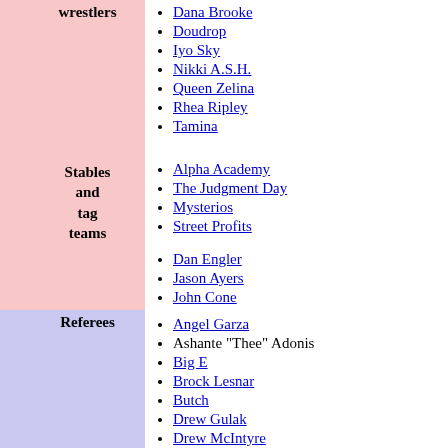Dana Brooke
Doudrop
Iyo Sky
Nikki A.S.H.
Queen Zelina
Rhea Ripley
Tamina
Stables and tag teams
Alpha Academy
The Judgment Day
Mysterios
Street Profits
Referees
Dan Engler
Jason Ayers
John Cone
Angel Garza
Ashante "Thee" Adonis
Big E
Brock Lesnar
Butch
Drew Gulak
Drew McIntyre
Erik
Gunther